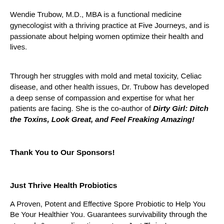Wendie Trubow, M.D., MBA is a functional medicine gynecologist with a thriving practice at Five Journeys, and is passionate about helping women optimize their health and lives.
Through her struggles with mold and metal toxicity, Celiac disease, and other health issues, Dr. Trubow has developed a deep sense of compassion and expertise for what her patients are facing. She is the co-author of Dirty Girl: Ditch the Toxins, Look Great, and Feel Freaking Amazing!
Thank You to Our Sponsors!
Just Thrive Health Probiotics
A Proven, Potent and Effective Spore Probiotic to Help You Be Your Healthier You. Guarantees survivability through the stomach & upper digestive system. Just Thrive’s breakthrough, award-winning probiotic contains the proprietary strain, Bacillus Indicus HU36®, which produces antioxidants directly in the digestive system where they can be best absorbed by your body.
Go to www.justthrivehealth.com, use the coupon codefoodheals15, get 15% off your first order, and add a spore-based probiotic to your healing and detox